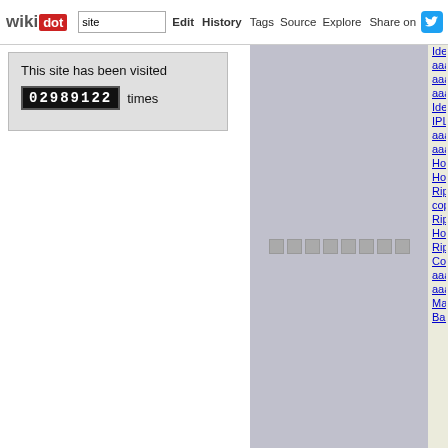wikidot | site | Edit | History | Tags | Source | Explore | Share on
This site has been visited 02989122 times
Ideal Blu-r...
ааааа 2012 аааааа аааааа
аааа аааа аааа
Ideal DVD inroads int...
IPL аааааааааа
ааааааа аааааа
ааааааа аааааа
How to cop...
How to cop... dvd
Rip hugo d...
copy hugo...
Rip footloo...
How to cop...
Rip twilight... or smart ph...
Copy twilig...
аааааа аааааа ааааааааа
Make a cop...
Backup Mi... original dv...